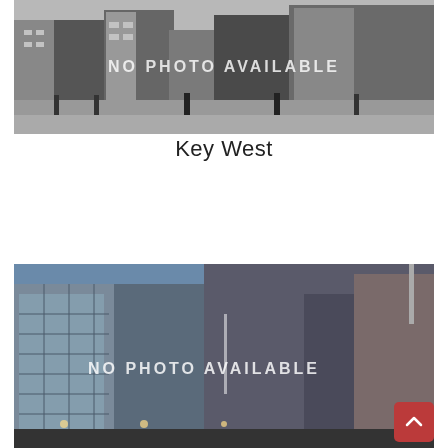[Figure (photo): Nighttime black and white photo of a city plaza with buildings and street lights. Text overlay reads 'NO PHOTO AVAILABLE'.]
Key West
[Figure (photo): Nighttime/dusk color-tinted photo of a modern office building complex with glass facades. Text overlay reads 'NO PHOTO AVAILABLE'. A red scroll-to-top button with an upward chevron is visible in the lower right.]